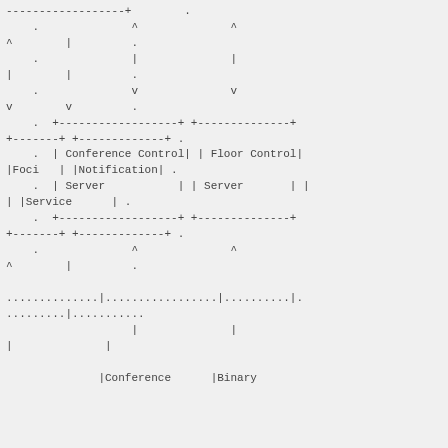[Figure (schematic): ASCII art diagram showing an architecture with Conference Control Server, Floor Control Server, Foci, Notification Service blocks connected with ASCII arrows and lines. Bottom portion shows dotted lines and vertical bars representing signal or protocol flows, with labels |Conference and |Binary at the bottom.]